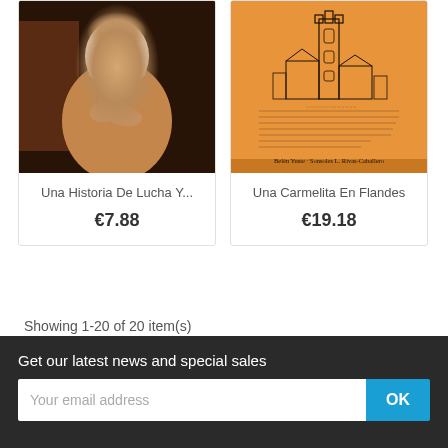[Figure (photo): Book cover showing a painting of a nun or religious woman in habit, dark background, classical painting style]
Una Historia De Lucha Y...
€7.88
[Figure (illustration): Book cover with orange background showing a sketch/drawing of a tower or cathedral with handwritten text, by Belen Yuste and Sonsoles L. Rivas-Caballero]
Una Carmelita En Flandes
€19.18
Showing 1-20 of 20 item(s)
Back to top ∧
Get our latest news and special sales
Your email address